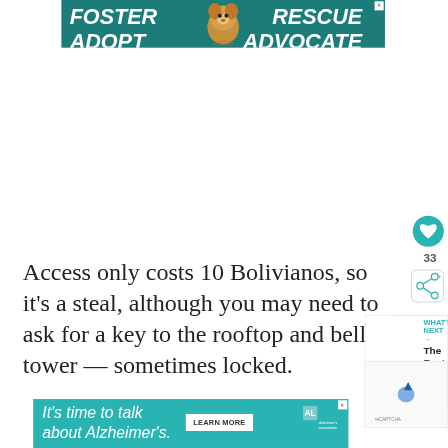[Figure (photo): Advertisement banner with teal background showing a dog (beagle). Text reads: FOSTER ADOPT (left) and RESCUE ADVOCATE (right). Close button in top right corner.]
[Figure (screenshot): Social media sidebar with teal heart/like button showing 33 likes, and a share button below.]
Access only costs 10 Bolivianos, so it's a steal, although you may need to ask for a key to the rooftop and bell tower — sometimes locked.
[Figure (screenshot): What's Next widget showing a cityscape thumbnail with label 'WHAT'S NEXT →' and title 'The Best Things to D...']
[Figure (screenshot): reCAPTCHA verification box]
[Figure (screenshot): Advertisement banner with teal background. Text: 'It's time to talk about Alzheimer's.' with a LEARN MORE button and alzheimer's association logo.]